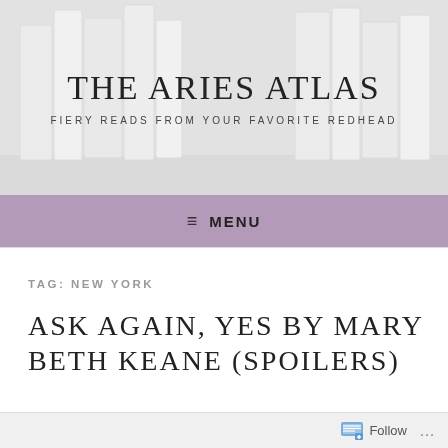[Figure (illustration): Blog header banner with white books on shelves in the background, showing site title 'THE ARIES ATLAS' and tagline 'FIERY READS FROM YOUR FAVORITE REDHEAD']
THE ARIES ATLAS
FIERY READS FROM YOUR FAVORITE REDHEAD
≡  MENU
TAG: NEW YORK
ASK AGAIN, YES BY MARY BETH KEANE (SPOILERS)
Follow ...